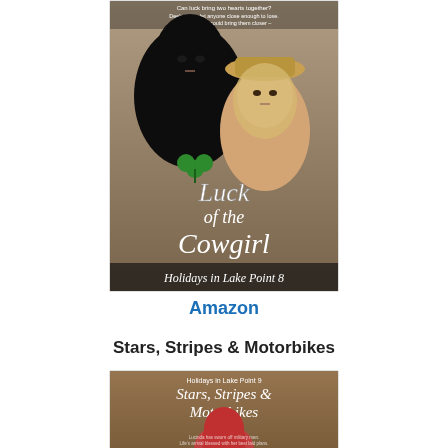[Figure (illustration): Book cover for 'Luck of the Cowgirl - Holidays in Lake Point 8' showing two women, one with dark hair and one blonde wearing a straw hat, with cursive title text and a shamrock, part of a romance series.]
Amazon
Stars, Stripes & Motorbikes
[Figure (illustration): Book cover for 'Stars, Stripes & Motorbikes - Holidays in Lake Point 9' showing a woman with red hair, with the series title in stylized text on a brown/tan background.]